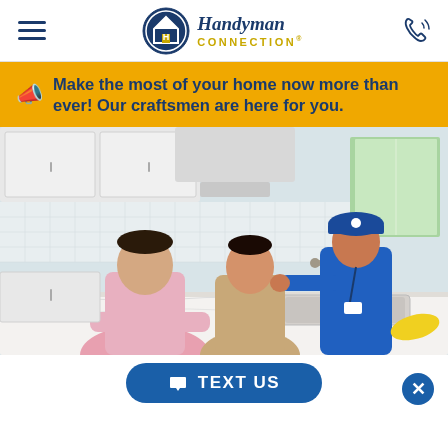Handyman Connection — Navigation header with hamburger menu, logo, and phone icon
📣  Make the most of your home now more than ever! Our craftsmen are here for you.
[Figure (photo): A Handyman Connection technician in a blue uniform and cap showing a kitchen faucet to a couple (man in pink shirt and woman in beige sweater) at a white kitchen counter. White cabinets and subway tile backsplash in background.]
TEXT US